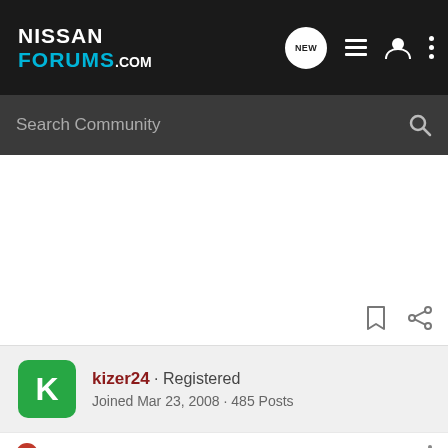NISSAN FORUMS.COM
Search Community
kizer24 · Registered
Joined Mar 23, 2008 · 485 Posts
Discussion Starter · #3 · Jun 10, 2008
Here is the link I found it at. From that info you can prob find 10 other (carbon copy) sites.
Nissan 200SX Unorthodox Racing Polished Performance Pulleys - 1995-1998 Nissan 200SX - Unorthodox Racing